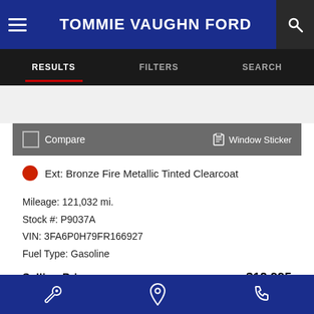TOMMIE VAUGHN FORD
RESULTS | FILTERS | SEARCH
Compare   Window Sticker
Ext: Bronze Fire Metallic Tinted Clearcoat
Mileage: 121,032 mi.
Stock #: P9037A
VIN: 3FA6P0H79FR166927
Fuel Type: Gasoline
Selling Price   $12,995
[Figure (logo): SHOW ME THE CARFAX logo with cyan bar below]
Bottom navigation bar with wrench, location pin, and phone icons